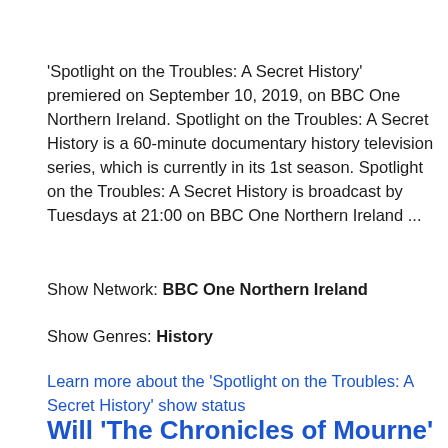'Spotlight on the Troubles: A Secret History' premiered on September 10, 2019, on BBC One Northern Ireland. Spotlight on the Troubles: A Secret History is a 60-minute documentary history television series, which is currently in its 1st season. Spotlight on the Troubles: A Secret History is broadcast by Tuesdays at 21:00 on BBC One Northern Ireland ...
Show Network: BBC One Northern Ireland
Show Genres: History
Learn more about the 'Spotlight on the Troubles: A Secret History' show status
Will 'The Chronicles of Mourne' Return For A Season 2 on BBC One...